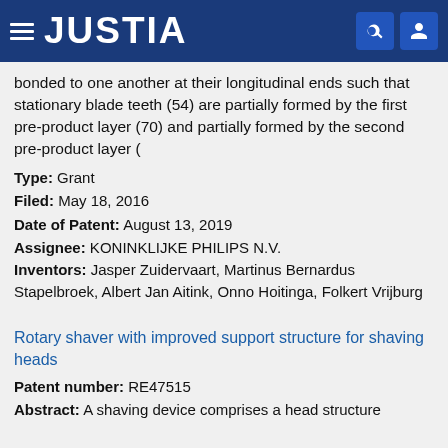JUSTIA
bonded to one another at their longitudinal ends such that stationary blade teeth (54) are partially formed by the first pre-product layer (70) and partially formed by the second pre-product layer (
Type: Grant
Filed: May 18, 2016
Date of Patent: August 13, 2019
Assignee: KONINKLIJKE PHILIPS N.V.
Inventors: Jasper Zuidervaart, Martinus Bernardus Stapelbroek, Albert Jan Aitink, Onno Hoitinga, Folkert Vrijburg
Rotary shaver with improved support structure for shaving heads
Patent number: RE47515
Abstract: A shaving device comprises a head structure